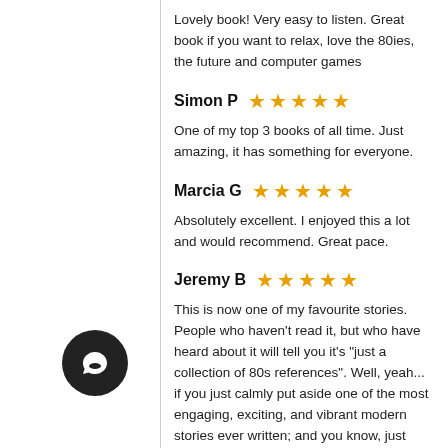Lovely book! Very easy to listen. Great book if you want to relax, love the 80ies, the future and computer games
Simon P ★★★★★
One of my top 3 books of all time. Just amazing, it has something for everyone.
Marcia G ★★★★★
Absolutely excellent. I enjoyed this a lot and would recommend. Great pace.
Jeremy B ★★★★★
This is now one of my favourite stories. People who haven't read it, but who have heard about it will tell you it's "just a collection of 80s references". Well, yeah... if you just calmly put aside one of the most engaging, exciting, and vibrant modern stories ever written; and you know, just politely ignore the fact that the 80s references are a minority of the overall book, and oh yeah, cast a blind eye to the fact that the references that are explained in depth, are